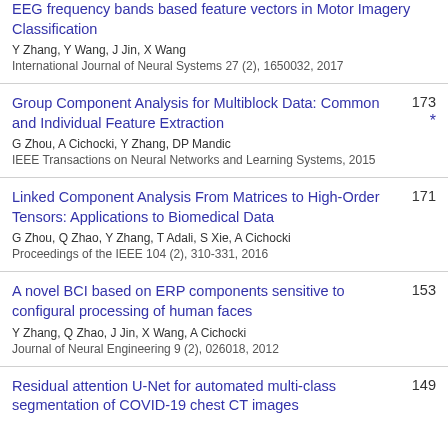EEG frequency bands based feature vectors in Motor Imagery Classification
Y Zhang, Y Wang, J Jin, X Wang
International Journal of Neural Systems 27 (2), 1650032, 2017
Group Component Analysis for Multiblock Data: Common and Individual Feature Extraction
G Zhou, A Cichocki, Y Zhang, DP Mandic
IEEE Transactions on Neural Networks and Learning Systems, 2015
173 *
Linked Component Analysis From Matrices to High-Order Tensors: Applications to Biomedical Data
G Zhou, Q Zhao, Y Zhang, T Adali, S Xie, A Cichocki
Proceedings of the IEEE 104 (2), 310-331, 2016
171
A novel BCI based on ERP components sensitive to configural processing of human faces
Y Zhang, Q Zhao, J Jin, X Wang, A Cichocki
Journal of Neural Engineering 9 (2), 026018, 2012
153
Residual attention U-Net for automated multi-class segmentation of COVID-19 chest CT images
149